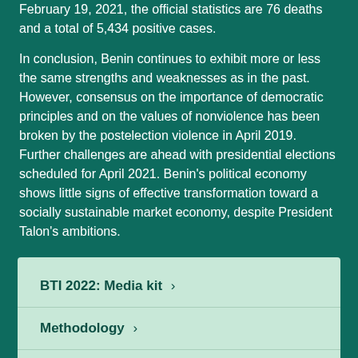February 19, 2021, the official statistics are 76 deaths and a total of 5,434 positive cases.
In conclusion, Benin continues to exhibit more or less the same strengths and weaknesses as in the past. However, consensus on the importance of democratic principles and on the values of nonviolence has been broken by the postelection violence in April 2019. Further challenges are ahead with presidential elections scheduled for April 2021. Benin's political economy shows little signs of effective transformation toward a socially sustainable market economy, despite President Talon's ambitions.
BTI 2022: Media kit ›
Methodology ›
FAQ ›